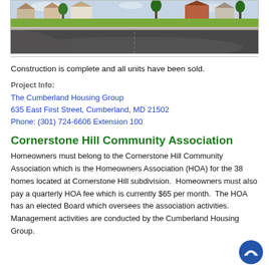[Figure (photo): Aerial/street-level photo of a residential neighborhood showing a paved road, green lawns, and houses in the background]
Construction is complete and all units have been sold.
Project Info:
The Cumberland Housing Group
635 East First Street, Cumberland, MD 21502
Phone: (301) 724-6606 Extension 100
Cornerstone Hill Community Association
Homeowners must belong to the Cornerstone Hill Community Association which is the Homeowners Association (HOA) for the 38 homes located at Cornerstone Hill subdivision.  Homeowners must also pay a quarterly HOA fee which is currently $65 per month.  The HOA has an elected Board which oversees the association activities.  Management activities are conducted by the Cumberland Housing Group.